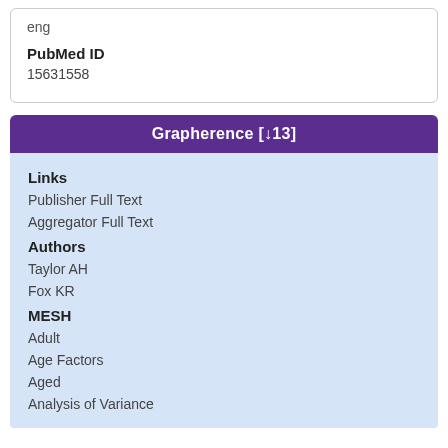eng
PubMed ID
15631558
Grapherence [↓13]
Links
Publisher Full Text
Aggregator Full Text
Authors
Taylor AH
Fox KR
MESH
Adult
Age Factors
Aged
Analysis of Variance